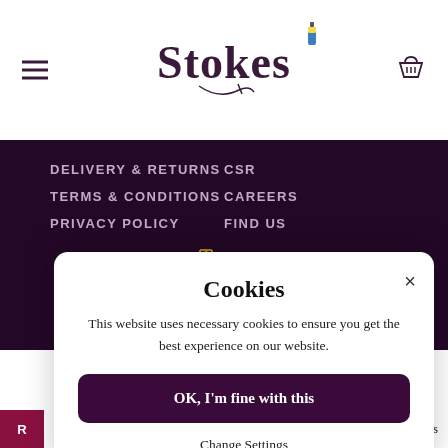Stokes
DELIVERY & RETURNS
TERMS & CONDITIONS
PRIVACY POLICY
CSR
CAREERS
FIND US
[Figure (illustration): Illustration of a goddess figure holding a trident, wearing gold helmet and blue robe, against dark purple background]
Cookies
This website uses necessary cookies to ensure you get the best experience on our website.
OK, I'm fine with this
Change Settings
Cookie Settings